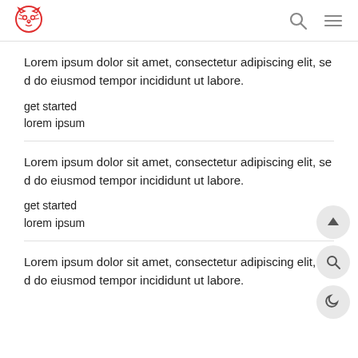[Figure (logo): Red tiger/bear face logo in outline style]
Lorem ipsum dolor sit amet, consectetur adipiscing elit, sed do eiusmod tempor incididunt ut labore.
get started
lorem ipsum
Lorem ipsum dolor sit amet, consectetur adipiscing elit, sed do eiusmod tempor incididunt ut labore.
get started
lorem ipsum
Lorem ipsum dolor sit amet, consectetur adipiscing elit, sed do eiusmod tempor incididunt ut labore.